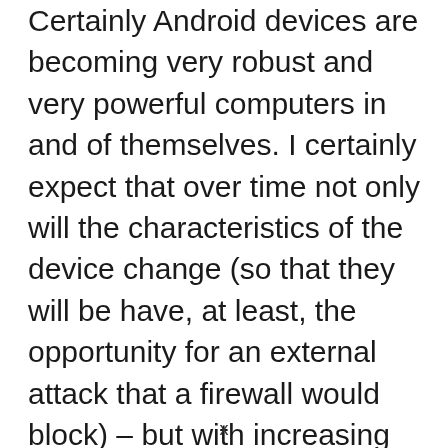Certainly Android devices are becoming very robust and very powerful computers in and of themselves. I certainly expect that over time not only will the characteristics of the device change (so that they will be have, at least, the opportunity for an external attack that a firewall would block) – but with increasing popularity there may actually, someday, be enough malware out there that Android users
x